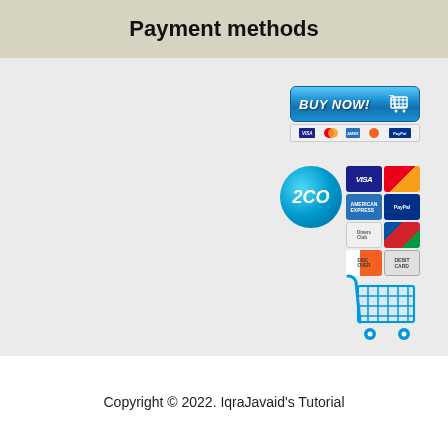Payment methods
[Figure (infographic): BUY NOW button with blue gradient, cart icon, payment card strip below, 2CO circle logo with payment card grid (VISA, Mastercard, Amex, PayPal, Diners Club, JCB, Discover, Debit Card), and large blue shopping cart icon]
Copyright © 2022. IqraJavaid's Tutorial